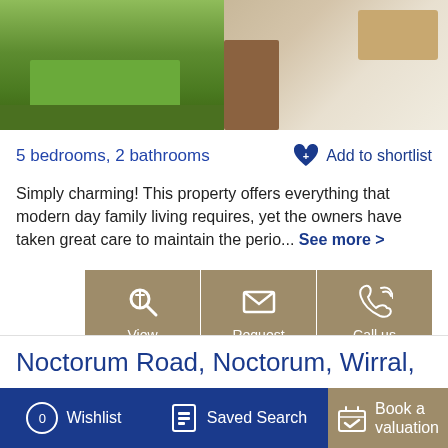[Figure (photo): Garden photo showing green lawn]
[Figure (photo): Interior living room with furniture]
5 bedrooms, 2 bathrooms
+ Add to shortlist
Simply charming! This property offers everything that modern day family living requires, yet the owners have taken great care to maintain the perio... See more >
View details
Request a viewing
Call us now
Noctorum Road, Noctorum, Wirral,
0 Wishlist
Saved Search
Book a valuation